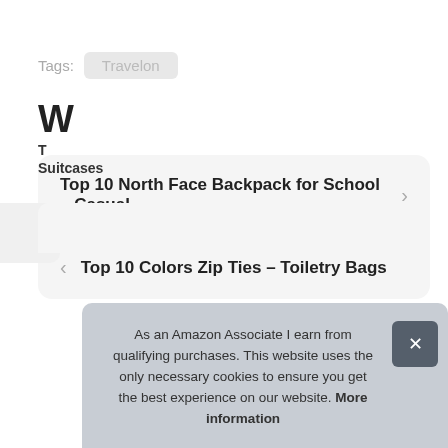Tags: Travelon
Top 10 North Face Backpack for School – Casual …
Top 10 Colors Zip Ties – Toiletry Bags
As an Amazon Associate I earn from qualifying purchases. This website uses the only necessary cookies to ensure you get the best experience on our website. More information